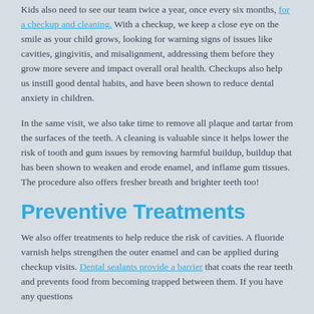Kids also need to see our team twice a year, once every six months, for a checkup and cleaning. With a checkup, we keep a close eye on the smile as your child grows, looking for warning signs of issues like cavities, gingivitis, and misalignment, addressing them before they grow more severe and impact overall oral health. Checkups also help us instill good dental habits, and have been shown to reduce dental anxiety in children.
In the same visit, we also take time to remove all plaque and tartar from the surfaces of the teeth. A cleaning is valuable since it helps lower the risk of tooth and gum issues by removing harmful buildup, buildup that has been shown to weaken and erode enamel, and inflame gum tissues. The procedure also offers fresher breath and brighter teeth too!
Preventive Treatments
We also offer treatments to help reduce the risk of cavities. A fluoride varnish helps strengthen the outer enamel and can be applied during checkup visits. Dental sealants provide a barrier that coats the rear teeth and prevents food from becoming trapped between them. If you have any questions